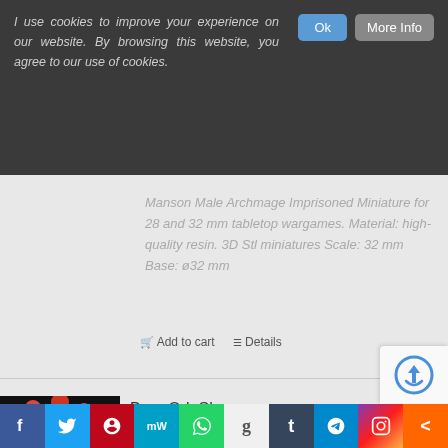I use cookies to improve your experience on our website. By browsing this website, you agree to our use of cookies.
Manson Male Archmage Imprisoned Miniature for 28 and 32 mm tabletop wargames. Material: high-quality resin. 3D Stl miniatures Scale: 32 mm Base: ø32 mm
🛒 Add to cart   ☰ Details
Baur Ork Shaman
50$
[Figure (photo): Photo of Baur Ork Shaman painted miniature figure on dark background]
f  Twitter  Pinterest  MW  WhatsApp  g  Tumblr  Telegram  Instagram  Share